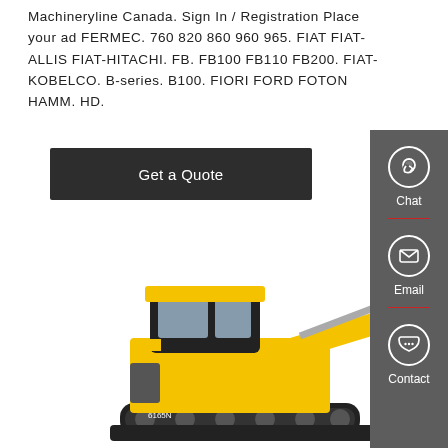Machineryline Canada. Sign In / Registration Place your ad FERMEC. 760 820 860 960 965. FIAT FIAT-ALLIS FIAT-HITACHI. FB. FB100 FB110 FB200. FIAT-KOBELCO. B-series. B100. FIORI FORD FOTON HAMM. HD.
[Figure (other): Dark button labeled 'Get a Quote']
[Figure (photo): Yellow SINOMACH mini excavator (model 6165N) on tracks with raised arm and bucket]
[Figure (infographic): Gray sidebar with Chat (headset icon), Email (envelope icon), and Contact (speech bubble icon) options separated by red dividers]